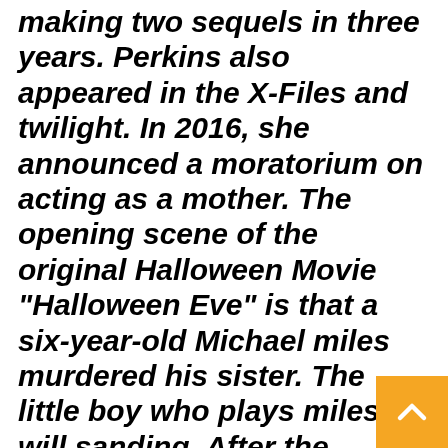making two sequels in three years. Perkins also appeared in the X-Files and twilight. In 2016, she announced a moratorium on acting as a mother. The opening scene of the original Halloween Movie "Halloween Eve" is that a six-year-old Michael miles murdered his sister. The little boy who plays miles is will sanding. After the movie, he quit acting. Until the beginning of this century, no one knew what happened to Michael Myers, Jr. Sardins are alive, healthy